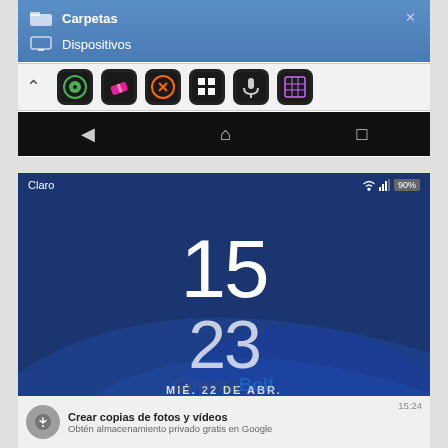[Figure (screenshot): Android file manager app showing Carpetas (Folders) and Dispositivos (Devices) menu, with app icon toolbar and Android navigation bar]
[Figure (screenshot): Sony Android lockscreen showing time 15:23, date MIÉ. 22 DE ABR., carrier Claro, 90% battery, with a Google Photos backup notification: 'Crear copias de fotos y videos' and 'Obtén almacenamiento privado gratis en Google' at 15:24]